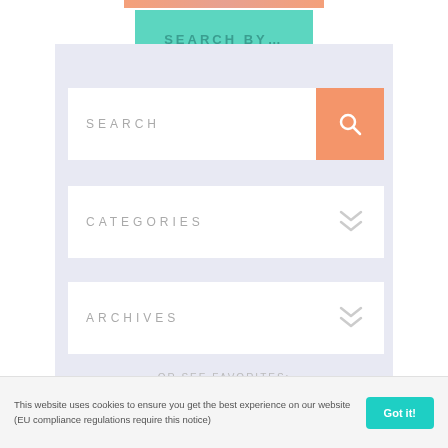[Figure (screenshot): Top decorative strip with salmon/coral gradient pattern]
SEARCH BY...
[Figure (screenshot): Search input box with orange/salmon search button icon]
[Figure (screenshot): Categories dropdown box with double chevron]
[Figure (screenshot): Archives dropdown box with double chevron]
OR SEE FAVORITES:
— BEAUTIFY YOUR BLOG TODAY! —
This website uses cookies to ensure you get the best experience on our website (EU compliance regulations require this notice)